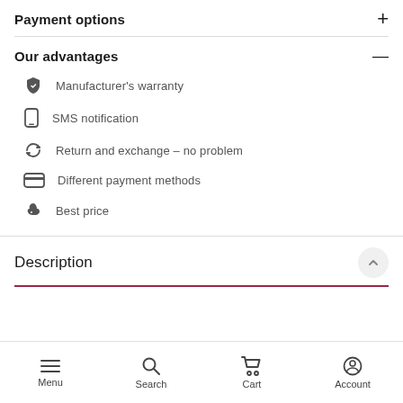Payment options
Our advantages
Manufacturer's warranty
SMS notification
Return and exchange – no problem
Different payment methods
Best price
Description
Menu  Search  Cart  Account